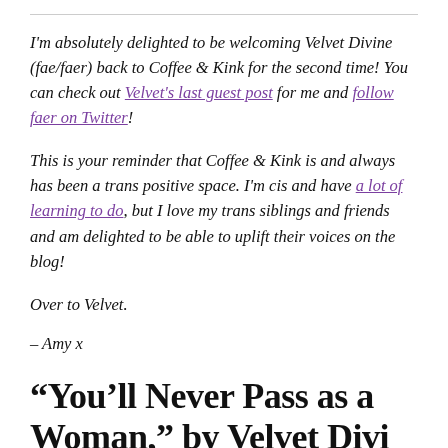I'm absolutely delighted to be welcoming Velvet Divine (fae/faer) back to Coffee & Kink for the second time! You can check out Velvet's last guest post for me and follow faer on Twitter!
This is your reminder that Coffee & Kink is and always has been a trans positive space. I'm cis and have a lot of learning to do, but I love my trans siblings and friends and am delighted to be able to uplift their voices on the blog!
Over to Velvet.
– Amy x
“You’ll Never Pass as a Woman,” by Velvet Divi…